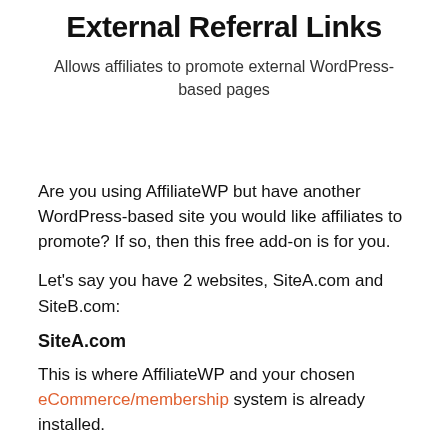External Referral Links
Allows affiliates to promote external WordPress-based pages
Are you using AffiliateWP but have another WordPress-based site you would like affiliates to promote? If so, then this free add-on is for you.
Let's say you have 2 websites, SiteA.com and SiteB.com:
SiteA.com
This is where AffiliateWP and your chosen eCommerce/membership system is already installed.